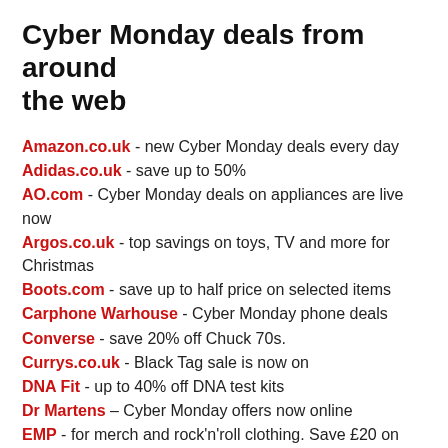Cyber Monday deals from around the web
Amazon.co.uk - new Cyber Monday deals every day
Adidas.co.uk - save up to 50%
AO.com - Cyber Monday deals on appliances are live now
Argos.co.uk - top savings on toys, TV and more for Christmas
Boots.com - save up to half price on selected items
Carphone Warhouse - Cyber Monday phone deals
Converse - save 20% off Chuck 70s.
Currys.co.uk - Black Tag sale is now on
DNA Fit - up to 40% off DNA test kits
Dr Martens – Cyber Monday offers now online
EMP - for merch and rock'n'roll clothing. Save £20 on orders over £85